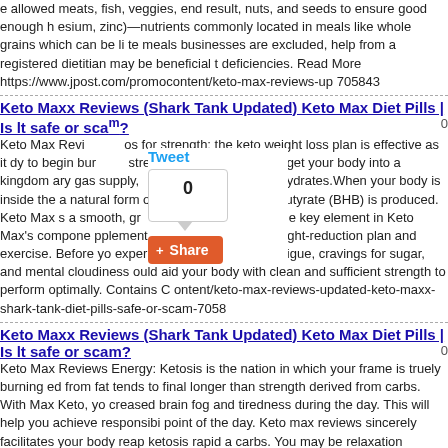e allowed meats, fish, veggies, end result, nuts, and seeds to ensure good enough h esium, zinc)—nutrients commonly located in meals like whole grains which can be li te meals businesses are excluded, help from a registered dietitian may be beneficial t deficiencies. Read More https://www.jpost.com/promocontent/keto-max-reviews-up 705843
Keto Maxx Reviews (Shark Tank Updated) Keto Max Diet Pills | Is lt safe or sca '?
Keto Max Revi os for strength; the keto weight loss plan is effective as it dy to begin bur strength. The purpose is to get your body into a kingdom ary gas supply, to the use of carbohydrates.When your body is inside the a natural form o lled beta-hydroxybutyrate (BHB) is produced. Keto Max s a smooth, gr e form of power. The key element in Keto Max's compone pplement weig right keto weight-reduction plan and exercise. Before yo experience sid sive of fatigue, cravings for sugar, and mental cloudiness ould aid your body with clean and sufficient strength to perform optimally. Contains C ontent/keto-max-reviews-updated-keto-maxx-shark-tank-diet-pills-safe-or-scam-7058
[Figure (other): Twitter Tweet button with count box showing 0 and orange Share button]
Keto Maxx Reviews (Shark Tank Updated) Keto Max Diet Pills | Is lt safe or scam?
Keto Max Reviews Energy: Ketosis is the nation in which your frame is truely burning ed from fat tends to final longer than strength derived from carbs. With Max Keto, yo creased brain fog and tiredness during the day. This will help you achieve responsibi point of the day. Keto max reviews sincerely facilitates your body reap ketosis rapid a carbs. You may be relaxation confident that you are not making a mistake via investi benefits: Keto max reviews BHB works almost right away to assist aid ketosis within th erfect supply of power and while you're in ketosis you enjoy strength and intellectual speedy weight loss. The Keto max reviews is scientifically proven to soften fats obvio side effects are alternatively benefits like increased attention, focus and sustained el https://www.jpost.com/promocontent/keto-max-reviews-updated-keto-maxx-shark-tank-diet-pills